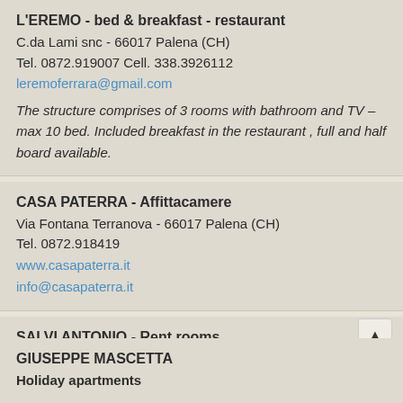L'EREMO - bed & breakfast - restaurant
C.da Lami snc - 66017 Palena (CH)
Tel. 0872.919007 Cell. 338.3926112
leremoferrara@gmail.com
The structure comprises of 3 rooms with bathroom and TV – max 10 bed. Included breakfast in the restaurant , full and half board available.
CASA PATERRA - Affittacamere
Via Fontana Terranova - 66017 Palena (CH)
Tel. 0872.918419
www.casapaterra.it
info@casapaterra.it
SALVI ANTONIO - Rent rooms
Via Frentana - 66017 Palena (CH)
Tel. 0872.918829
GIUSEPPE MASCETTA
Holiday apartments